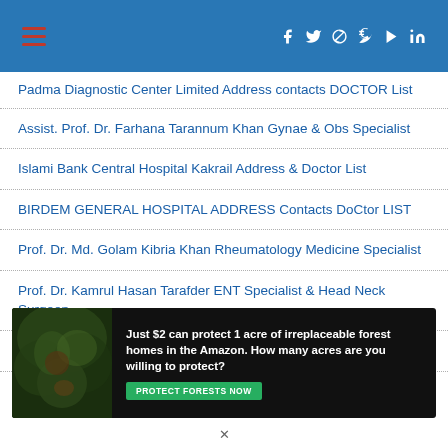Navigation header with hamburger menu and social icons (Facebook, Twitter, Pinterest, Tumblr, YouTube, LinkedIn)
Padma Diagnostic Center Limited Address contacts DOCTOR List
Assist. Prof. Dr. Farhana Tarannum Khan Gynae & Obs Specialist
Islami Bank Central Hospital Kakrail Address & Doctor List
BIRDEM GENERAL HOSPITAL ADDRESS Contacts DoCtor LIST
Prof. Dr. Md. Golam Kibria Khan Rheumatology Medicine Specialist
Prof. Dr. Kamrul Hasan Tarafder ENT Specialist & Head Neck Surgeon
Prof. Brig. Gen. Dr. Md. Abdul Latif Khan Dermatologist
[Figure (infographic): Advertisement banner: dark background with forest image on left, text 'Just $2 can protect 1 acre of irreplaceable forest homes in the Amazon. How many acres are you willing to protect?' with green 'PROTECT FORESTS NOW' button]